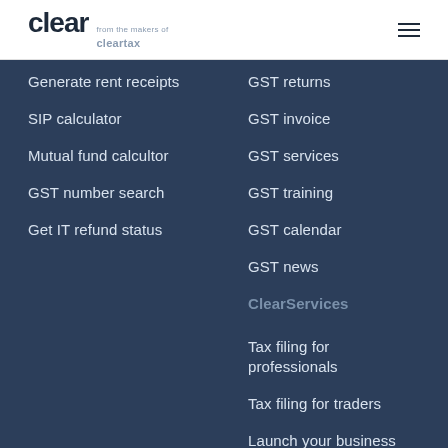[Figure (logo): Clear logo — 'clear' in dark bold text with 'from the makers of cleartax' subtitle in grey]
Generate rent receipts
SIP calculator
Mutual fund calcultor
GST number search
Get IT refund status
GST returns
GST invoice
GST services
GST training
GST calendar
GST news
ClearServices
Tax filing for professionals
Tax filing for traders
Launch your business
Services for businesses
Trademark